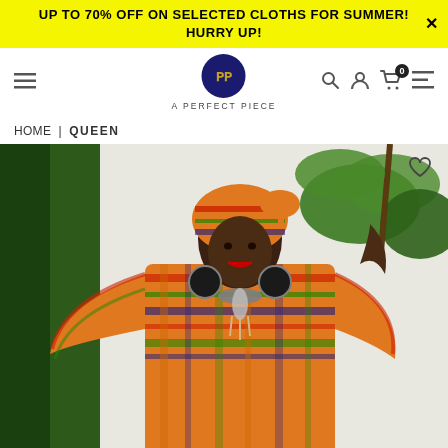UP TO 70% OFF ON SELECTED CLOTHS FOR SUMMER! Hurry up!
[Figure (logo): A Perfect Piece brand logo — circular dark navy emblem with PP monogram and text 'A PERFECT PIECE' below]
HOME | QUEEN
[Figure (photo): Woman wearing an orange kente-print off-shoulder top with wide sleeves and matching head wrap, accessorized with large round earrings and a statement necklace, posing in front of green foliage background]